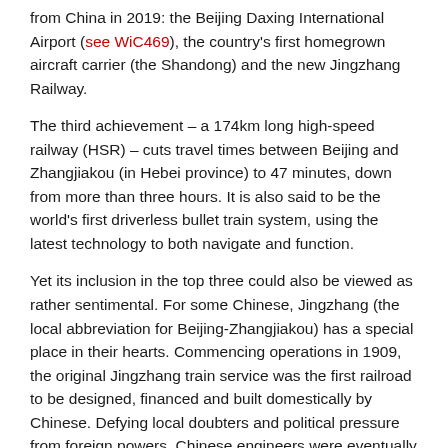from China in 2019: the Beijing Daxing International Airport (see WiC469), the country's first homegrown aircraft carrier (the Shandong) and the new Jingzhang Railway.
The third achievement – a 174km long high-speed railway (HSR) – cuts travel times between Beijing and Zhangjiakou (in Hebei province) to 47 minutes, down from more than three hours. It is also said to be the world's first driverless bullet train system, using the latest technology to both navigate and function.
Yet its inclusion in the top three could also be viewed as rather sentimental. For some Chinese, Jingzhang (the local abbreviation for Beijing-Zhangjiakou) has a special place in their hearts. Commencing operations in 1909, the original Jingzhang train service was the first railroad to be designed, financed and built domestically by Chinese. Defying local doubters and political pressure from foreign powers, Chinese engineers were eventually able to complete the work two years ahead of schedule and comfortably under budget.
While trains chugged along the same route 110 years ago at